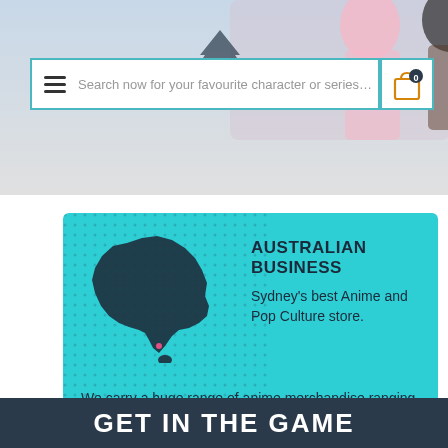[Figure (screenshot): Anime character banner image with pink-haired and dark-haired characters, partially visible at top of page]
[Figure (screenshot): Search bar with hamburger menu icon, placeholder text 'Search now for your favourite character or series...' and shopping cart icon with '0' badge]
[Figure (infographic): Teal/cyan card with Australia map silhouette on left and text content on right, plus dotted pattern background]
AUSTRALIAN BUSINESS
Sydney's best Anime and Pop Culture store.
We carry a huge range of anime merchandise ranging from popular titles to niche series. Established 27/03/2007.
GET IN THE GAME